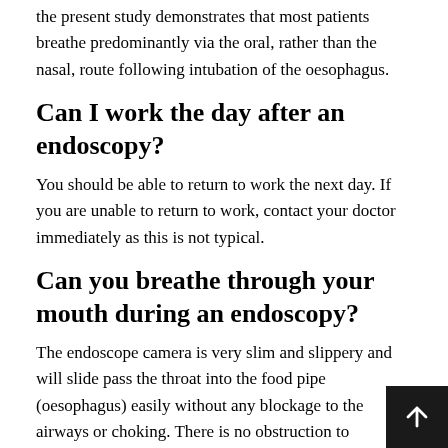the present study demonstrates that most patients breathe predominantly via the oral, rather than the nasal, route following intubation of the oesophagus.
Can I work the day after an endoscopy?
You should be able to return to work the next day. If you are unable to return to work, contact your doctor immediately as this is not typical.
Can you breathe through your mouth during an endoscopy?
The endoscope camera is very slim and slippery and will slide pass the throat into the food pipe (oesophagus) easily without any blockage to the airways or choking. There is no obstruction to breathing during the procedure, and patients breathe normally throughout the examination.